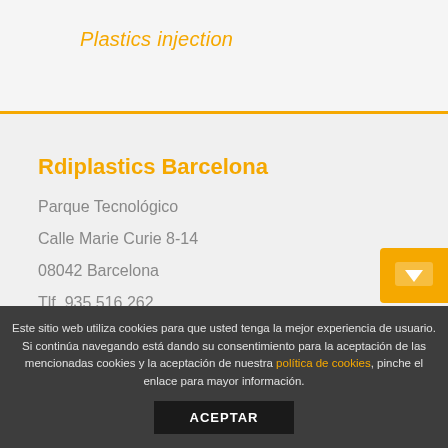Plastics injection
Rdiplastics Barcelona
Parque Tecnológico
Calle Marie Curie 8-14
08042 Barcelona
Tlf. 935 516 262
Este sitio web utiliza cookies para que usted tenga la mejor experiencia de usuario. Si continúa navegando está dando su consentimiento para la aceptación de las mencionadas cookies y la aceptación de nuestra política de cookies, pinche el enlace para mayor información.
ACEPTAR